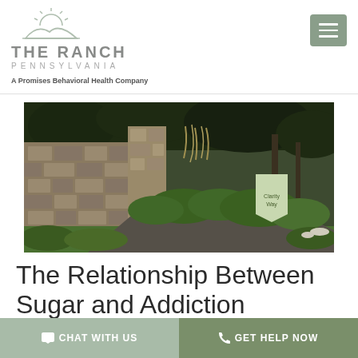[Figure (logo): The Ranch Pennsylvania logo with sun/hills icon above text 'THE RANCH PENNSYLVANIA' and 'A Promises Behavioral Health Company']
[Figure (photo): Exterior entrance of a behavioral health facility with stone wall, lush green landscaping, manicured shrubs, driveway, tall grasses, and a sign reading 'Clarity Way' among trees]
The Relationship Between Sugar and Addiction
CHAT WITH US | GET HELP NOW